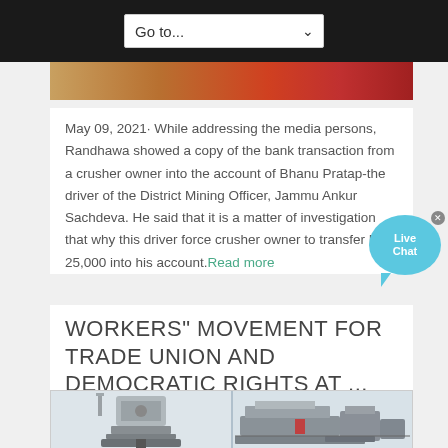Go to...
[Figure (photo): Partial hero image at top of article, showing colorful figures]
May 09, 2021· While addressing the media persons, Randhawa showed a copy of the bank transaction from a crusher owner into the account of Bhanu Pratap-the driver of the District Mining Officer, Jammu Ankur Sachdeva. He said that it is a matter of investigation that why this driver force crusher owner to transfer Rs 25,000 into his account. Read more
WORKERS" MOVEMENT FOR TRADE UNION AND DEMOCRATIC RIGHTS AT ...
[Figure (photo): Two industrial crusher machines side by side — a cone crusher on the left and a mobile jaw crusher on the right]